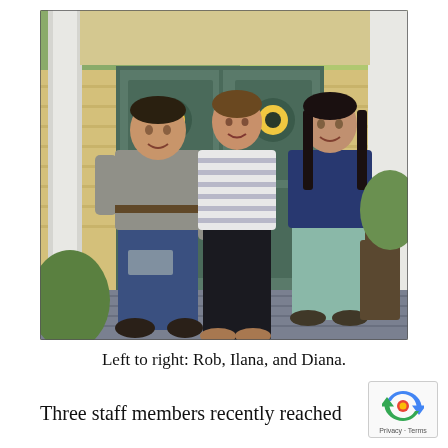[Figure (photo): Three people standing on a porch in front of decorative green double doors of a yellow Victorian-style house. Left: man in grey shirt and jeans. Center: woman in striped shirt and black pants. Right: woman in navy blue top and light teal capri pants.]
Left to right: Rob, Ilana, and Diana.
Three staff members recently reached